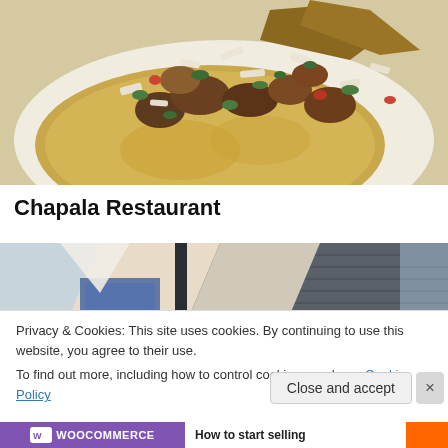[Figure (photo): Close-up photo of a taco on a white plate with meat, chopped onions, cilantro, and toppings on a corn tortilla]
Chapala Restaurant
[Figure (photo): Partial photo of a restaurant building exterior with dark gray siding and geometric architectural elements]
Privacy & Cookies: This site uses cookies. By continuing to use this website, you agree to their use.
To find out more, including how to control cookies, see here: Cookie Policy
Close and accept
[Figure (logo): WooCommerce purple logo banner with text 'How to start selling']